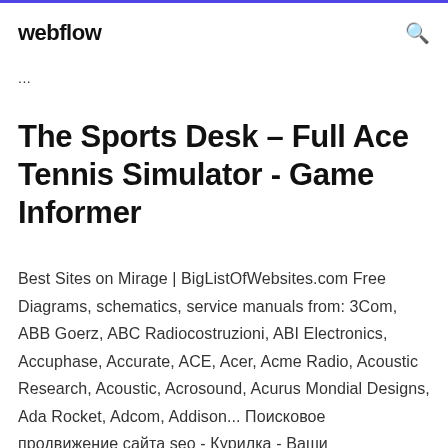webflow  🔍
...
The Sports Desk – Full Ace Tennis Simulator - Game Informer
Best Sites on Mirage | BigListOfWebsites.com Free Diagrams, schematics, service manuals from: 3Com, ABB Goerz, ABC Radiocostruzioni, ABI Electronics, Accuphase, Accurate, ACE, Acer, Acme Radio, Acoustic Research, Acoustic, Acrosound, Acurus Mondial Designs, Ada Rocket, Adcom, Addison... Поисковое продвижение сайта seo - Курилка - Ваши